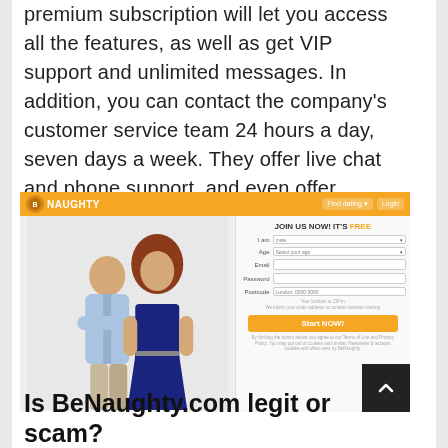premium subscription will let you access all the features, as well as get VIP support and unlimited messages. In addition, you can contact the company's customer service team 24 hours a day, seven days a week. They offer live chat and phone support, and even offer discounts and deals.
[Figure (screenshot): Screenshot of BeNaughty.com website showing orange header bar with logo, a couple image on the left, and a registration form on the right with fields for I am, Age, Email, Password, Postcode and a Start NOW! button.]
Is BeNaughty.com legit or scam?